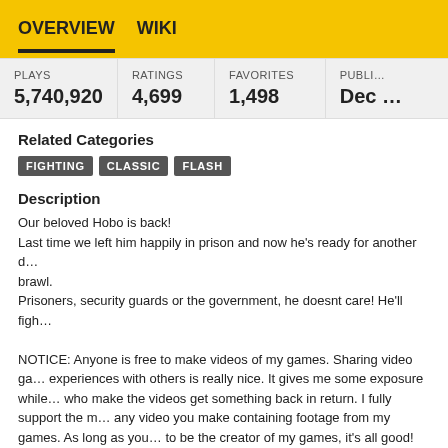OVERVIEW   WIKI
| PLAYS | RATINGS | FAVORITES | PUBLI… |
| --- | --- | --- | --- |
| 5,740,920 | 4,699 | 1,498 | Dec … |
Related Categories
FIGHTING
CLASSIC
FLASH
Description
Our beloved Hobo is back!
Last time we left him happily in prison and now he's ready for another d… brawl.
Prisoners, security guards or the government, he doesnt care! He'll figh…

NOTICE: Anyone is free to make videos of my games. Sharing video ga… experiences with others is really nice. It gives me some exposure while… who make the videos get something back in return. I fully support the m… any video you make containing footage from my games. As long as you… to be the creator of my games, it's all good! Throwing my name, Seethi… the creator into the description or into the video itself is also always app…
Controls